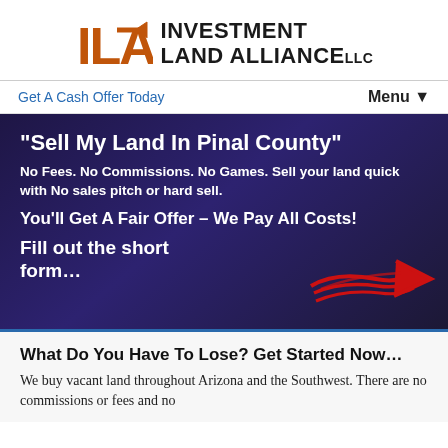[Figure (logo): Investment Land Alliance LLC logo with orange ILA letters and arrow symbol, and dark bold company name text]
Get A Cash Offer Today   Menu ▼
"Sell My Land In Pinal County"
No Fees. No Commissions. No Games. Sell your land quick with No sales pitch or hard sell.
You'll Get A Fair Offer – We Pay All Costs!
Fill out the short form...
[Figure (illustration): Red hand-drawn arrow pointing to the right]
What Do You Have To Lose? Get Started Now...
We buy vacant land throughout Arizona and the Southwest. There are no commissions or fees and no